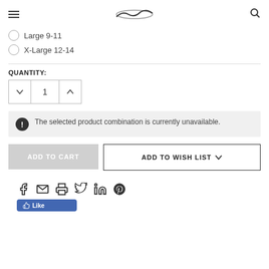Navigation header with hamburger menu, logo, and search icon
Large 9-11
X-Large 12-14
QUANTITY:
1
The selected product combination is currently unavailable.
ADD TO CART
ADD TO WISH LIST
[Figure (infographic): Social sharing icons: Facebook, Email, Print, Twitter, LinkedIn, Pinterest; and a Facebook Like button]